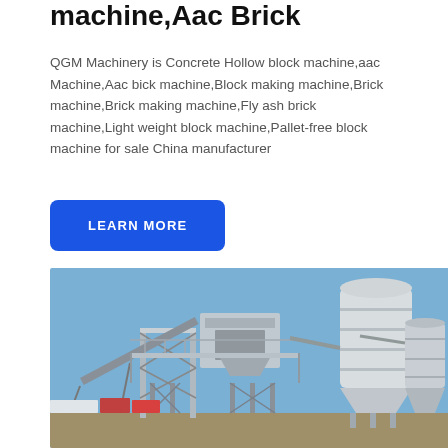machine,Aac Brick
QGM Machinery is Concrete Hollow block machine,aac Machine,Aac bick machine,Block making machine,Brick machine,Brick making machine,Fly ash brick machine,Light weight block machine,Pallet-free block machine for sale China manufacturer
LEARN MORE
[Figure (photo): Industrial concrete block / brick making plant with a large silo, conveyor belts, and metal framework structure against a blue sky]